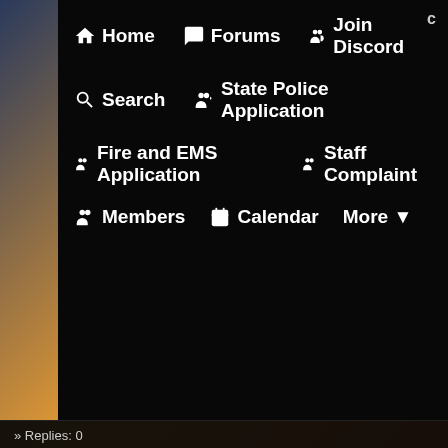[Figure (screenshot): Website navigation menu overlay on a city background showing Home, Forums, Join Discord, Search, State Police Application, Fire and EMS Application, Staff Complaint, Members, Calendar, More options]
🏠 Home
💬 Forums
👥 Join Discord
🔍 Search
👥 State Police Application
👥 Fire and EMS Application
👥 Staff Complaint
👥 Members
📅 Calendar
More ▾
» Replies: 0
» Views: 1
achat plaquenil en ligne ...
Forum: Role Play
Last Post: whosteen
1 minute ago
» Replies: 1
» Views: 6
Hampson Russell HRS v11 P...
Forum: Role Play
Last Post: Torrent14